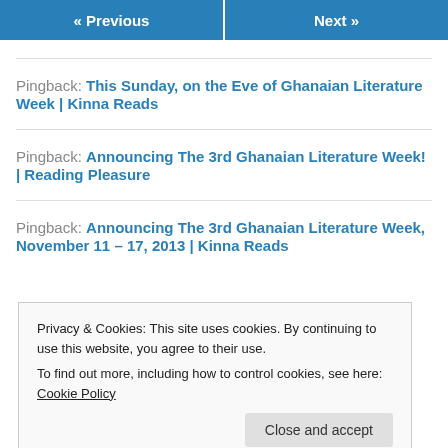« Previous   Next »
Pingback: This Sunday, on the Eve of Ghanaian Literature Week | Kinna Reads
Pingback: Announcing The 3rd Ghanaian Literature Week! | Reading Pleasure
Pingback: Announcing The 3rd Ghanaian Literature Week, November 11 – 17, 2013 | Kinna Reads
Privacy & Cookies: This site uses cookies. By continuing to use this website, you agree to their use.
To find out more, including how to control cookies, see here: Cookie Policy